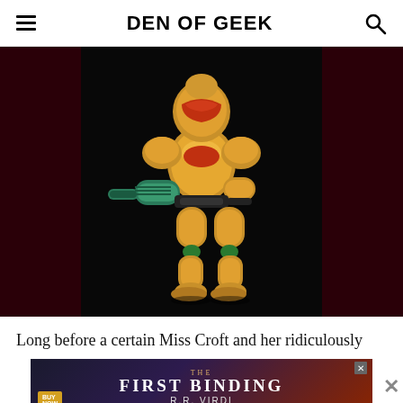DEN OF GEEK
[Figure (photo): 3D rendered character of Samus Aran in golden power armor with green arm cannon, standing against a dark background with dark red side panels]
Long before a certain Miss Croft and her ridiculously
[Figure (other): Advertisement banner for 'The First Binding' by R.R. Virdi with dark fantasy background]